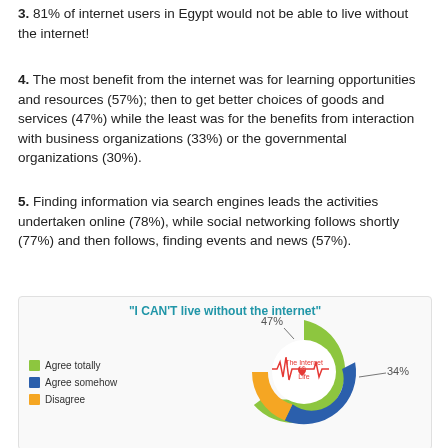3. 81% of internet users in Egypt would not be able to live without the internet!
4. The most benefit from the internet was for learning opportunities and resources (57%); then to get better choices of goods and services (47%) while the least was for the benefits from interaction with business organizations (33%) or the governmental organizations (30%).
5. Finding information via search engines leads the activities undertaken online (78%), while social networking follows shortly (77%) and then follows, finding events and news (57%).
[Figure (donut-chart): "I CAN'T live without the internet"]